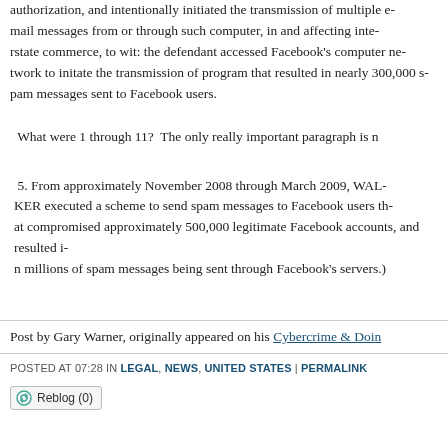authorization, and intentionally initiated the transmission of multiple e-mail messages from or through such computer, in and affecting interstate commerce, to wit: the defendant accessed Facebook's computer network to initate the transmission of program that resulted in nearly 300,000 spam messages sent to Facebook users.
What were 1 through 11? The only really important paragraph is n
5. From approximately November 2008 through March 2009, WALKER executed a scheme to send spam messages to Facebook users that compromised approximately 500,000 legitimate Facebook accounts, and resulted in millions of spam messages being sent through Facebook's servers.)
Post by Gary Warner, originally appeared on his Cybercrime & Doing Time
POSTED AT 07:28 IN LEGAL, NEWS, UNITED STATES | PERMALINK
Reblog (0)
01 MAY 2015
CAUCE intervenes in a case about fraudulent
California case law currently allows spammers to send email with certain "Subject" lines, so long as the body of the message provides the tr